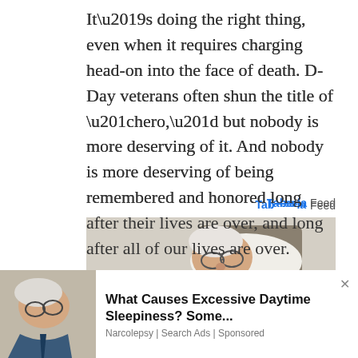It’s doing the right thing, even when it requires charging head-on into the face of death. D-Day veterans often shun the title of “hero,” but nobody is more deserving of it. And nobody is more deserving of being remembered and honored long after their lives are over, and long after all of our lives are over.
[Figure (photo): Taboola Feed logo followed by a photo of an elderly man sleeping in a chair, and a partial photo of another sleeping elderly man below]
What Causes Excessive Daytime Sleepiness? Some...
Narcolepsy | Search Ads | Sponsored